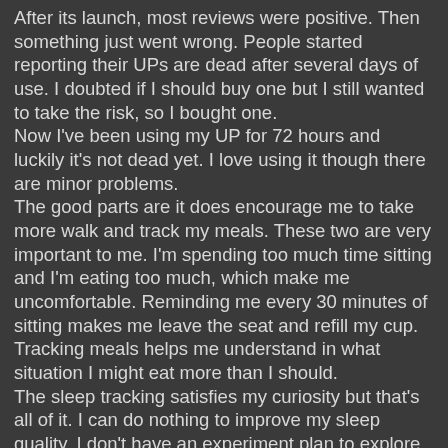After its launch, most reviews were positive. Then something just went wrong. People started reporting their UPs are dead after several days of use. I doubted if I should buy one but I still wanted to take the risk, so I bought one. Now I've been using my UP for 72 hours and luckily it's not dead yet. I love using it though there are minor problems. The good parts are it does encourage me to take more walk and track my meals. These two are very important to me. I'm spending too much time sitting and I'm eating too much, which make me uncomfortable. Reminding me every 30 minutes of sitting makes me leave the seat and refill my cup. Tracking meals helps me understand in what situation I might eat more than I should. The sleep tracking satisfies my curiosity but that's all of it. I can do nothing to improve my sleep quality. I don't have an experiment plan to explore what affects my sleep yet. The bad parts are it only tracks arm movement and it's not accurate in all circumstances. Workout tracking only tracks activities involve arm movement. Push up tracks nothing while brushing my teeth looks like some intensive workout. Overall, I still like my UP and wish Jawbone could make it better in the future.